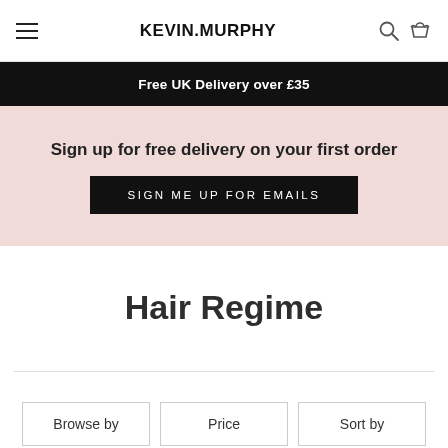KEVIN.MURPHY
Free UK Delivery over £35
Sign up for free delivery on your first order
SIGN ME UP FOR EMAILS
Hair Regime
Browse by
Price
Sort by